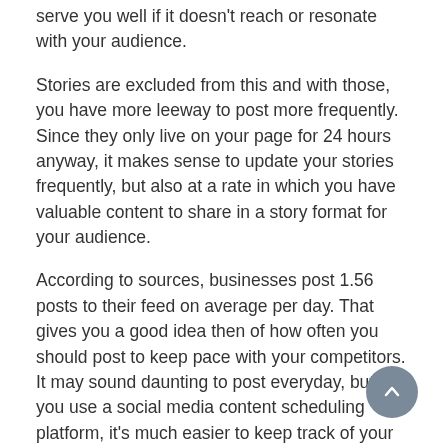serve you well if it doesn't reach or resonate with your audience.
Stories are excluded from this and with those, you have more leeway to post more frequently. Since they only live on your page for 24 hours anyway, it makes sense to update your stories frequently, but also at a rate in which you have valuable content to share in a story format for your audience.
According to sources, businesses post 1.56 posts to their feed on average per day. That gives you a good idea then of how often you should post to keep pace with your competitors. It may sound daunting to post everyday, but if you use a social media content scheduling platform, it's much easier to keep track of your content and optimize your content schedule at a rate that works for you.
How Frequently to Post on